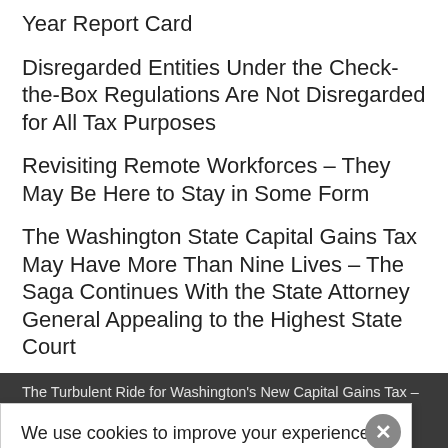Year Report Card
Disregarded Entities Under the Check-the-Box Regulations Are Not Disregarded for All Tax Purposes
Revisiting Remote Workforces – They May Be Here to Stay in Some Form
The Washington State Capital Gains Tax May Have More Than Nine Lives – The Saga Continues With the State Attorney General Appealing to the Highest State Court
The Turbulent Ride for Washington's New Capital Gains Tax – What Lies Ahead in Some Months
The Oregon Legislature and the Oregon Department of Revenue's State's Taxpayers and Tax Community – The Office of the Taxpayer Advocate Is Here to Help
Season's Greetings from Larry's Tax Law